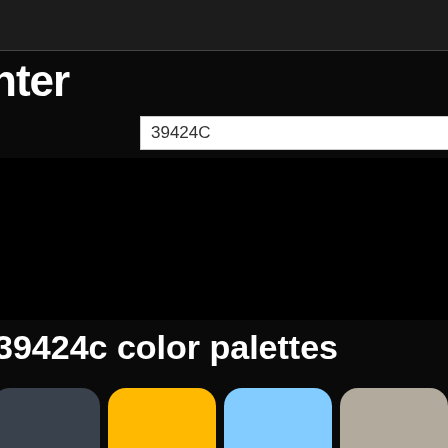nter
39424C
39424c color palettes
[Figure (infographic): Color palette row 1: swatches #39424C (dark slate), #FFB900 (amber), #82CCFF (light blue), #B3AA9E (taupe), #2E6EBC (medium blue), and a photo of a blue Scania truck with yellow trailer]
[Figure (infographic): Color palette row 2 (partial): swatches showing blue, light blue, another light blue, steel blue, and a landscape photo with water and trees]